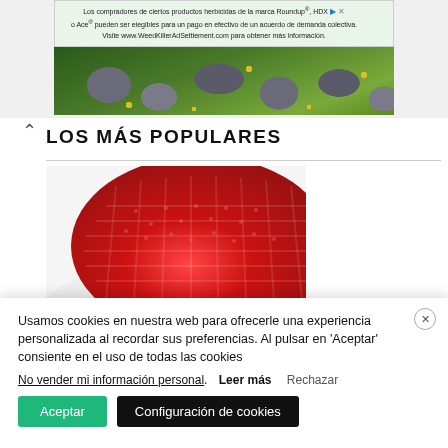[Figure (screenshot): Advertisement banner for WeedKillerAdSettlement.com (Roundup/HDX/Ace herbicide class action settlement) with green garden stone background image and yellow flower accents]
LOS MÁS POPULARES
[Figure (photo): Close-up photo of a red knitted hat/beanie]
Usamos cookies en nuestra web para ofrecerle una experiencia personalizada al recordar sus preferencias. Al pulsar en 'Aceptar' consiente en el uso de todas las cookies
No vender mi información personal. Leer más Rechazar
Aceptar   Configuración de cookies